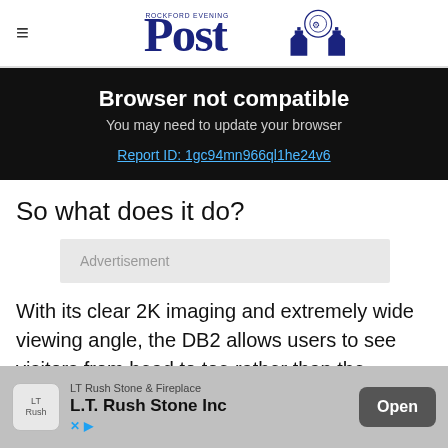≡  Rockford Evening Post
Browser not compatible
You may need to update your browser
Report ID: 1gc94mn966ql1he24v6
So what does it do?
Advertisement
With its clear 2K imaging and extremely wide viewing angle, the DB2 allows users to see visitors from head to toe rather than the narrow, disto... peep... also
[Figure (screenshot): Bottom advertisement overlay: LT Rush Stone & Fireplace / L.T. Rush Stone Inc — Open button, with X and play icons]